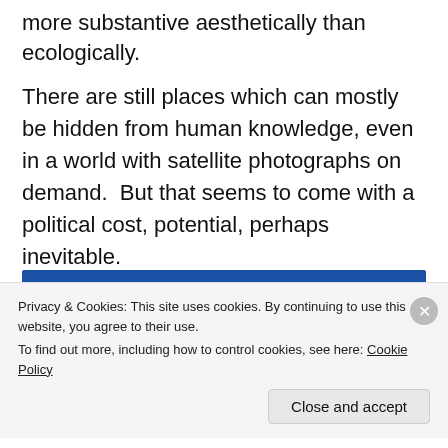more substantive aesthetically than ecologically.
There are still places which can mostly be hidden from human knowledge, even in a world with satellite photographs on demand.  But that seems to come with a political cost, potential, perhaps inevitable.
[Figure (photo): Photograph showing a blue sky with a tree silhouette visible in the lower right corner.]
Privacy & Cookies: This site uses cookies. By continuing to use this website, you agree to their use.
To find out more, including how to control cookies, see here: Cookie Policy

Close and accept